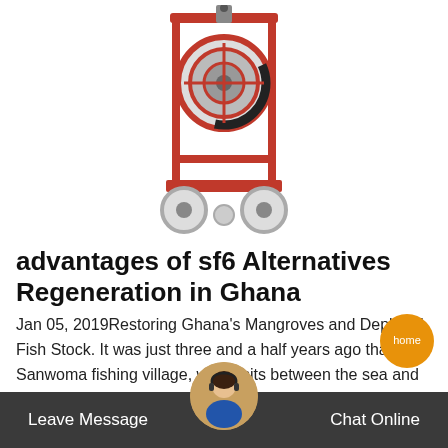[Figure (photo): A red wheeled industrial SF6 gas recovery/regeneration cart with black hose coiled on a reel, on a white background.]
advantages of sf6 Alternatives Regeneration in Ghana
Jan 05, 2019Restoring Ghana's Mangroves and Depleted Fish Stock. It was just three and a half years ago that the Sanwoma fishing village, which sits between the sea and the mouth of the Ankobra River on the west coast of Ghana, experienced perpetual flooding that resulted in a loss of property and life. This was because the mangrove forest that
Leave Message  Chat Online